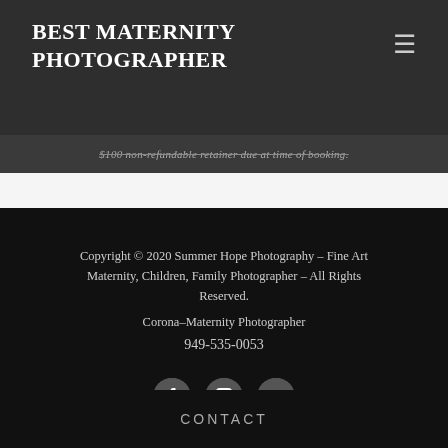BEST MATERNITY PHOTOGRAPHER
$100 non-refundable retainer due at time of booking.
Copyright © 2020 Summer Hope Photography – Fine Art Maternity, Children, Family Photographer – All Rights Reserved.
Corona–Maternity Photographer
949-535-0053
[Figure (illustration): Social media icons: Facebook, Instagram, Yelp in circular buttons]
CONTACT